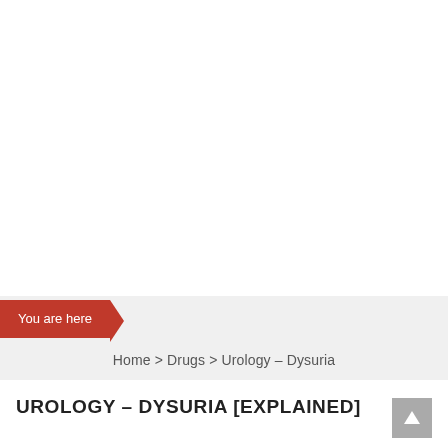You are here
Home > Drugs > Urology – Dysuria
UROLOGY – DYSURIA [EXPLAINED]